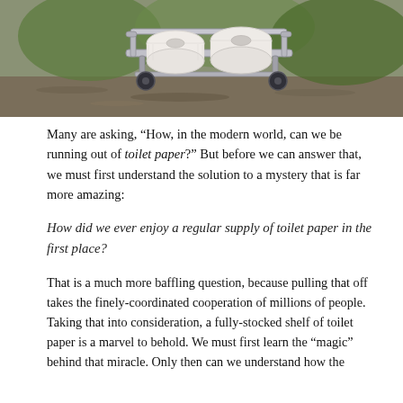[Figure (photo): A shopping cart/trolley carrying large rolls of toilet paper, photographed outdoors on gravel with green foliage in background]
Many are asking, “How, in the modern world, can we be running out of toilet paper?” But before we can answer that, we must first understand the solution to a mystery that is far more amazing:
How did we ever enjoy a regular supply of toilet paper in the first place?
That is a much more baffling question, because pulling that off takes the finely-coordinated cooperation of millions of people. Taking that into consideration, a fully-stocked shelf of toilet paper is a marvel to behold. We must first learn the “magic” behind that miracle. Only then can we understand how the